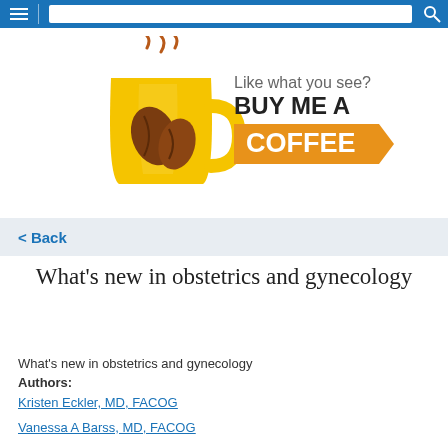Your activity: 2 p.v.
[Figure (logo): Buy Me A Coffee logo with yellow coffee mug and steam, text reading 'Like what you see? BUY ME A COFFEE' with orange arrow banner]
< Back
What's new in obstetrics and gynecology
What's new in obstetrics and gynecology
Authors:
Kristen Eckler, MD, FACOG
Vanessa A Barss, MD, FACOG